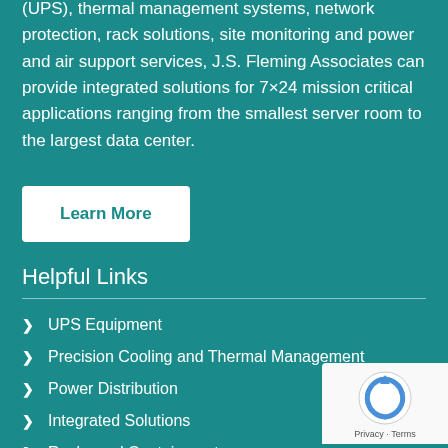(UPS), thermal management systems, network protection, rack solutions, site monitoring and power and air support services, J.S. Fleming Associates can provide integrated solutions for 7×24 mission critical applications ranging from the smallest server room to the largest data center.
Learn More
Helpful Links
UPS Equipment
Precision Cooling and Thermal Management
Power Distribution
Integrated Solutions
Racks and Containment
IT Management Solutions